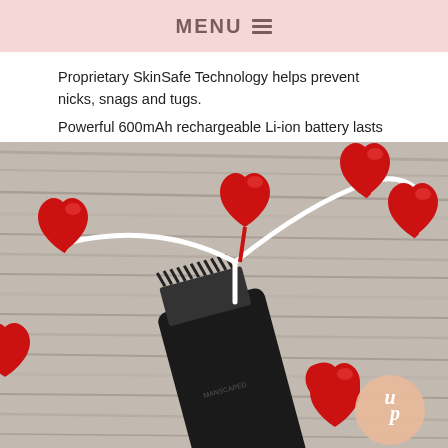MENU
Proprietary SkinSafe Technology helps prevent nicks, snags and tugs.
Powerful 600mAh rechargeable Li-ion battery lasts for up to 90 minutes of use.
Premium 9,000 RPM motor powers 360-degree rotary dual-blade system.
[Figure (photo): A black MANSCAPED grooming trimmer with comb attachment lying on a wooden surface surrounded by red heart-shaped lollipops with white wires/sticks. A circular logo with 'up' is visible in the bottom right corner.]